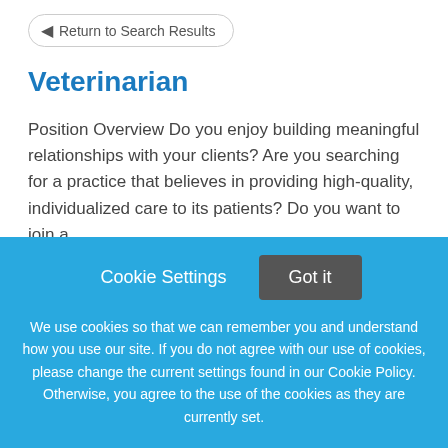Return to Search Results
Veterinarian
Position Overview Do you enjoy building meaningful relationships with your clients? Are you searching for a practice that believes in providing high-quality, individualized care to its patients? Do you want to join a
This job listing is no longer active.
Cookie Settings  Got it
We use cookies so that we can remember you and understand how you use our site. If you do not agree with our use of cookies, please change the current settings found in our Cookie Policy. Otherwise, you agree to the use of the cookies as they are currently set.